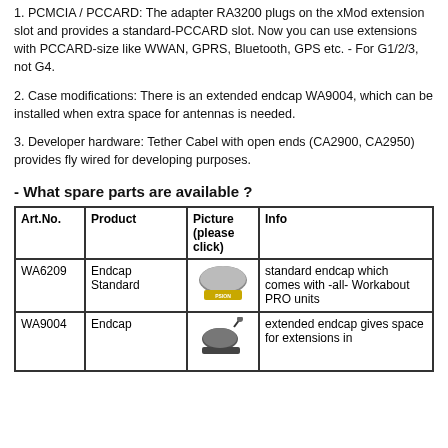1. PCMCIA / PCCARD: The adapter RA3200 plugs on the xMod extension slot and provides a standard-PCCARD slot. Now you can use extensions with PCCARD-size like WWAN, GPRS, Bluetooth, GPS etc. - For G1/2/3, not G4.
2. Case modifications: There is an extended endcap WA9004, which can be installed when extra space for antennas is needed.
3. Developer hardware: Tether Cabel with open ends (CA2900, CA2950) provides fly wired for developing purposes.
- What spare parts are available ?
| Art.No. | Product | Picture
(please click) | Info |
| --- | --- | --- | --- |
| WA6209 | Endcap Standard | [image] | standard endcap which comes with -all- Workabout PRO units |
| WA9004 | Endcap | [image] | extended endcap gives space for extensions in |